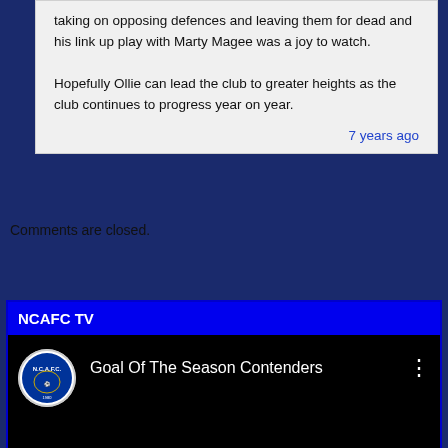taking on opposing defences and leaving them for dead and his link up play with Marty Magee was a joy to watch.

Hopefully Ollie can lead the club to greater heights as the club continues to progress year on year.
7 years ago
Comments are closed.
NCAFC TV
[Figure (screenshot): YouTube video thumbnail showing NCAFC logo and title 'Goal Of The Season Contenders' on a black background]